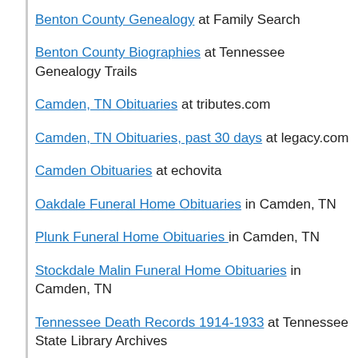Benton County Genealogy at Family Search
Benton County Biographies at Tennessee Genealogy Trails
Camden, TN Obituaries at tributes.com
Camden, TN Obituaries, past 30 days at legacy.com
Camden Obituaries at echovita
Oakdale Funeral Home Obituaries in Camden, TN
Plunk Funeral Home Obituaries in Camden, TN
Stockdale Malin Funeral Home Obituaries in Camden, TN
Tennessee Death Records 1914-1933 at Tennessee State Library Archives